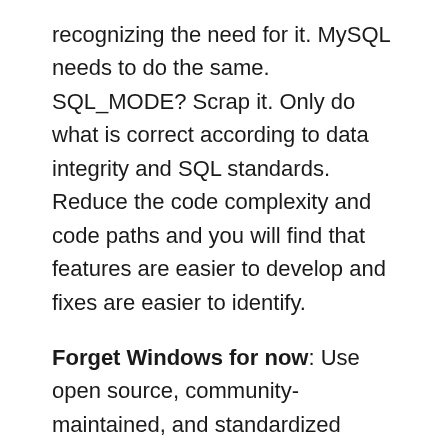recognizing the need for it. MySQL needs to do the same. SQL_MODE? Scrap it. Only do what is correct according to data integrity and SQL standards. Reduce the code complexity and code paths and you will find that features are easier to develop and fixes are easier to identify.
Forget Windows for now: Use open source, community-maintained, and standardized libraries within the kernel. Don't rewrite libc and various other quality open source libraries because of Not Invented Here syndrome or because Windows lacks these things. Focus on the standards and don't bother with platforms that don't conform to POSIX. If Microsoft wants future MySQL versions to run on its platforms, partner with Microsoft and have them do the port. While you're at it, drop